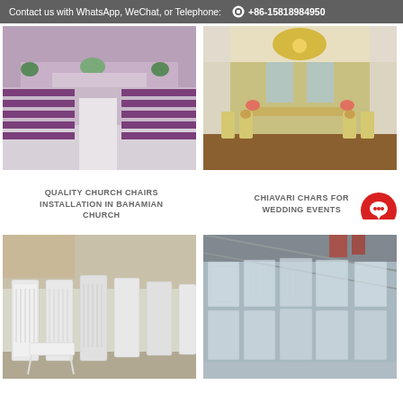Contact us with WhatsApp, WeChat, or Telephone:   +86-15818984950
[Figure (photo): Purple church chairs arranged in rows inside a Bahamian church with a center aisle]
[Figure (photo): Chiavari chairs set up for a wedding event under a decorated tent]
QUALITY CHURCH CHAIRS INSTALLATION IN BAHAMIAN CHURCH
CHIAVARI CHAIRS FOR WEDDING EVENT
[Figure (photo): White Chiavari chairs stacked in a warehouse or storage area]
[Figure (photo): Clear/transparent stacked chairs inside a large warehouse]